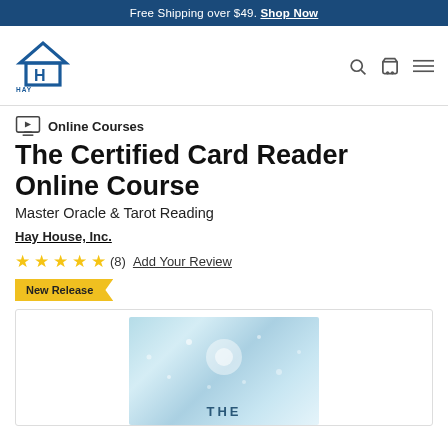Free Shipping over $49. Shop Now
[Figure (logo): Hay House logo — blue house icon with H letter and HAY HOUSE text]
Online Courses
The Certified Card Reader Online Course
Master Oracle & Tarot Reading
Hay House, Inc.
★★★★★ (8)  Add Your Review
New Release
[Figure (photo): Blue sparkly glowing light background with text 'THE' partially visible at the bottom — product course cover image]